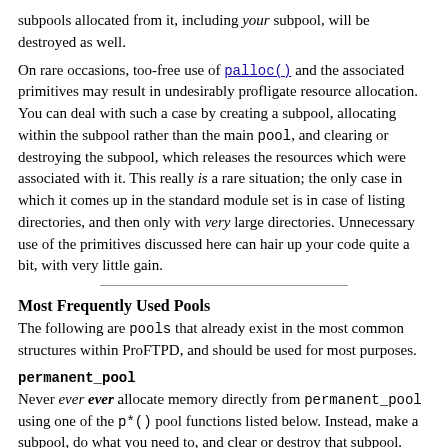subpools allocated from it, including your subpool, will be destroyed as well.
On rare occasions, too-free use of palloc() and the associated primitives may result in undesirably profligate resource allocation. You can deal with such a case by creating a subpool, allocating within the subpool rather than the main pool, and clearing or destroying the subpool, which releases the resources which were associated with it. This really is a rare situation; the only case in which it comes up in the standard module set is in case of listing directories, and then only with very large directories. Unnecessary use of the primitives discussed here can hair up your code quite a bit, with very little gain.
Most Frequently Used Pools
The following are pools that already exist in the most common structures within ProFTPD, and should be used for most purposes.
permanent_pool
Never ever ever allocate memory directly from permanent_pool using one of the p*() pool functions listed below. Instead, make a subpool, do what you need to, and clear or destroy that subpool. permanent_pool only gets cleared rarely, on SIGHUP and shutdown. Abuse of this pool will lead to memory leaks.